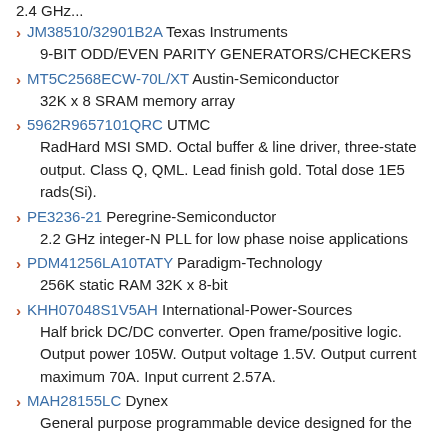JM38510/32901B2A Texas Instruments
9-BIT ODD/EVEN PARITY GENERATORS/CHECKERS
MT5C2568ECW-70L/XT Austin-Semiconductor
32K x 8 SRAM memory array
5962R9657101QRC UTMC
RadHard MSI SMD. Octal buffer & line driver, three-state output. Class Q, QML. Lead finish gold. Total dose 1E5 rads(Si).
PE3236-21 Peregrine-Semiconductor
2.2 GHz integer-N PLL for low phase noise applications
PDM41256LA10TATY Paradigm-Technology
256K static RAM 32K x 8-bit
KHH07048S1V5AH International-Power-Sources
Half brick DC/DC converter. Open frame/positive logic. Output power 105W. Output voltage 1.5V. Output current maximum 70A. Input current 2.57A.
MAH28155LC Dynex
General purpose programmable device designed for the